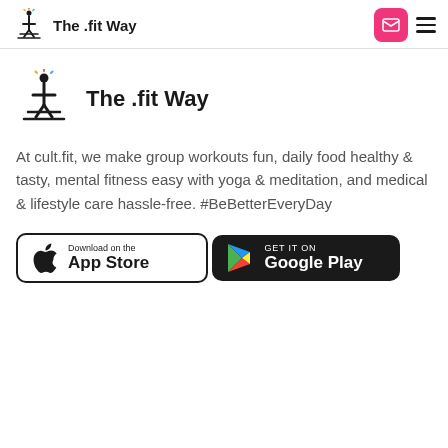The .fit Way
[Figure (logo): The .fit Way logo with stylized figure and text 'The .fit Way']
At cult.fit, we make group workouts fun, daily food healthy & tasty, mental fitness easy with yoga & meditation, and medical & lifestyle care hassle-free. #BeBetterEveryDay
[Figure (logo): Download on the App Store button]
[Figure (logo): Get it on Google Play button]